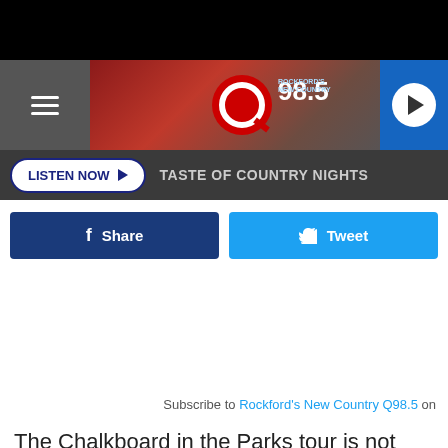[Figure (screenshot): Black top bar]
Q98.5 Rockford's New Country radio station header banner with hamburger menu, Q98.5 logo, and play button
LISTEN NOW ▶  TASTE OF COUNTRY NIGHTS
f Share   🐦 Tweet
Subscribe to Rockford's New Country Q98.5 on
The Chalkboard in the Parks tour is not over yet. Here are the rest of the tour dates. Be sure to get your brutally honest